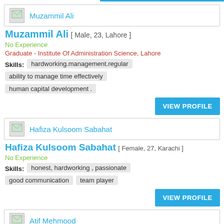Muzammil Ali [profile card header]
Muzammil Ali [ Male, 23, Lahore ]
No Experience
Graduate - Institute Of Administration Science, Lahore
Skills: hardworking.management.regular
ability to manage time effectively
human capital development .
VIEW PROFILE
Hafiza Kulsoom Sabahat [profile card header]
Hafiza Kulsoom Sabahat [ Female, 27, Karachi ]
No Experience
Skills: honest, hardworking , passionate
good communication
team player
VIEW PROFILE
Atif Mehmood [profile card header]